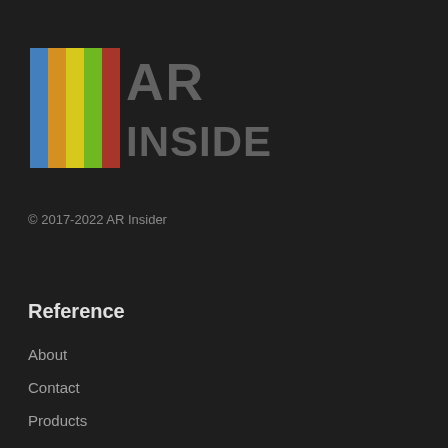[Figure (logo): AR Insider logo with rainbow-colored vertical stripes on the left and stylized 'AR INSIDER' text in gray on dark background]
© 2017-2022 AR Insider
Reference
About
Contact
Products
Thought-Leaders Login